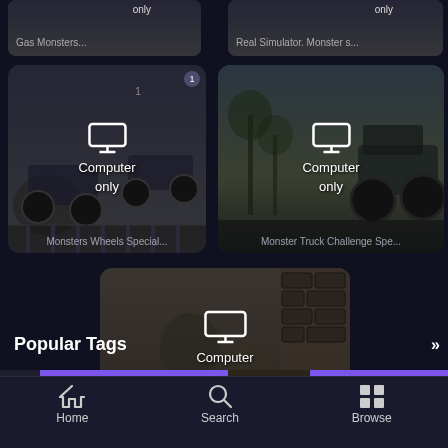[Figure (screenshot): Mobile game browser app showing game cards with 'Computer only' overlays. Top partial row shows 'Gas Monsters' and 'Real Simulator Monster...' games. Middle row shows two game cards with monster trucks and 'Computer only' labels. Bottom shows a dungeon/puzzle game card with 'Computer only' label.]
Popular Tags
[Figure (screenshot): Popular Tags section with tag tiles: Parking (purple), Truck (purple), WebGL (dark with WebGL logo), and partial tags visible on edges. A >> arrow appears on the right.]
[Figure (screenshot): Bottom navigation bar with Home, Search, and Browse icons and labels.]